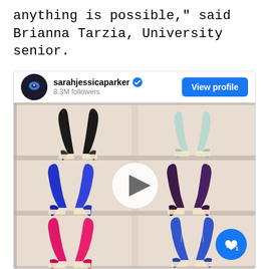anything is possible," said Brianna Tarzia, University senior.
[Figure (screenshot): Instagram profile card for sarahjessicaparker with 8.3M followers, showing a video thumbnail of high-heel shoes displayed in clear acrylic boxes on shelves, with a play button overlay and a like button in the bottom right corner.]